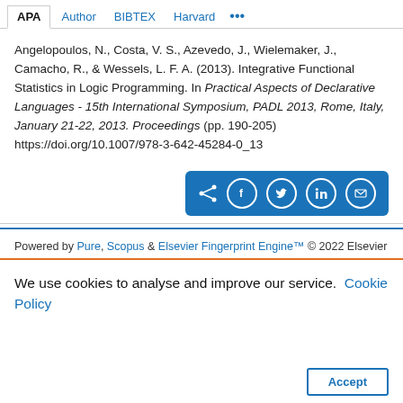APA  Author  BIBTEX  Harvard  ...
Angelopoulos, N., Costa, V. S., Azevedo, J., Wielemaker, J., Camacho, R., & Wessels, L. F. A. (2013). Integrative Functional Statistics in Logic Programming. In Practical Aspects of Declarative Languages - 15th International Symposium, PADL 2013, Rome, Italy, January 21-22, 2013. Proceedings (pp. 190-205) https://doi.org/10.1007/978-3-642-45284-0_13
Powered by Pure, Scopus & Elsevier Fingerprint Engine™ © 2022 Elsevier
We use cookies to analyse and improve our service. Cookie Policy